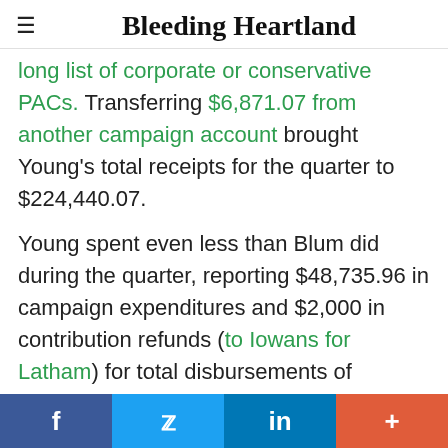Bleeding Heartland
long list of corporate or conservative PACs. Transferring $6,871.07 from another campaign account brought Young's total receipts for the quarter to $224,440.07.

Young spent even less than Blum did during the quarter, reporting $48,735.96 in campaign expenditures and $2,000 in contribution refunds (to Iowans for Latham) for total disbursements of $50,735.96. Young doesn't appear to have
f  Twitter  in  +